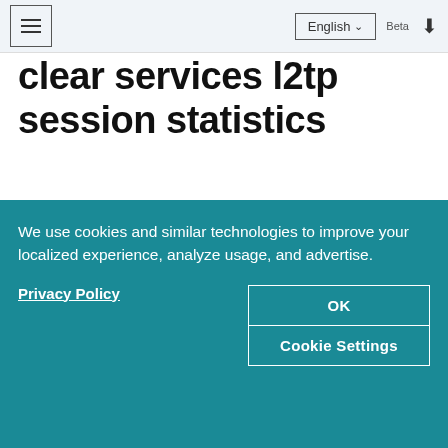≡  English ∨  Beta  ⬇
clear services l2tp session statistics
📅 17-Feb-21
Syntax 🔗
We use cookies and similar technologies to improve your localized experience, analyze usage, and advertise.
Privacy Policy
OK
Cookie Settings